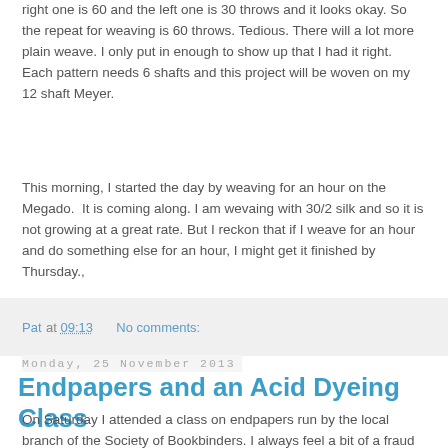right one is 60 and the left one is 30 throws and it looks okay. So the repeat for weaving is 60 throws. Tedious. There will a lot more plain weave. I only put in enough to show up that I had it right. Each pattern needs 6 shafts and this project will be woven on my 12 shaft Meyer.
This morning, I started the day by weaving for an hour on the Megado.  It is coming along. I am wevaing with 30/2 silk and so it is not growing at a great rate. But I reckon that if I weave for an hour and do something else for an hour, I might get it finished by Thursday.,
Pat at 09:13    No comments:
Monday, 25 November 2013
Endpapers and an Acid Dyeing Class
On Saturday I attended a class on endpapers run by the local branch of the Society of Bookbinders. I always feel a bit of a fraud when I attend such classes because I am not a